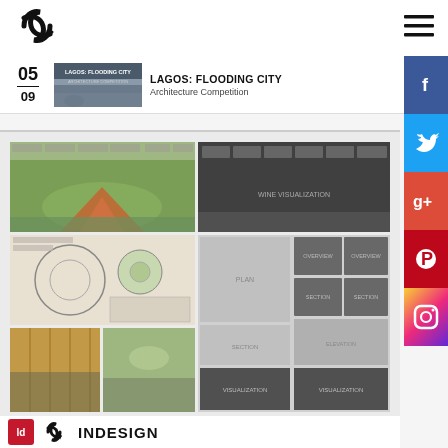[Figure (logo): Circular arrow logo mark in black]
[Figure (illustration): Hamburger menu icon (three horizontal lines)]
[Figure (photo): Thumbnail of Lagos: Flooding City competition entry showing flooded street]
LAGOS: FLOODING CITY
Architecture Competition
[Figure (screenshot): Architecture competition submission panels - left: green landscape rendering and plan drawings; right: dark layout template with plan, section, elevation, and visualization zones]
[Figure (logo): INDESIGN logo with red InDesign icon and double-C circular logo mark]